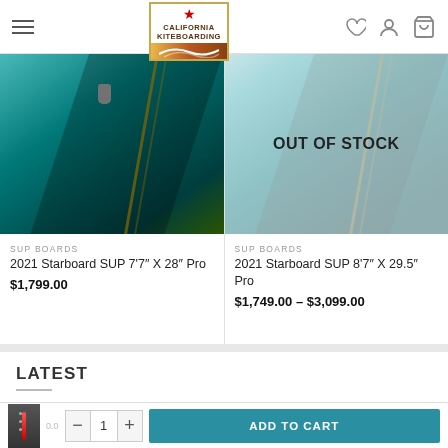California Kiteboarding — navigation header with hamburger menu, logo, heart icon, user icon, cart icon
[Figure (photo): Product image of 2021 Starboard SUP 7'7" X 28" Pro board — teal/dark teal board with gold stripe]
SUP BOARDS
2021 Starboard SUP 7'7" X 28" Pro
$1,799.00
[Figure (photo): Product image of 2021 Starboard SUP 8'7" X 29.5" Pro board with OUT OF STOCK overlay]
SUP BOARDS
2021 Starboard SUP 8'7" X 29.5" Pro
$1,749.00 – $3,099.00
LATEST
GoFoil Ride Foil Board 6'0" (Used Once)
ADD TO CART